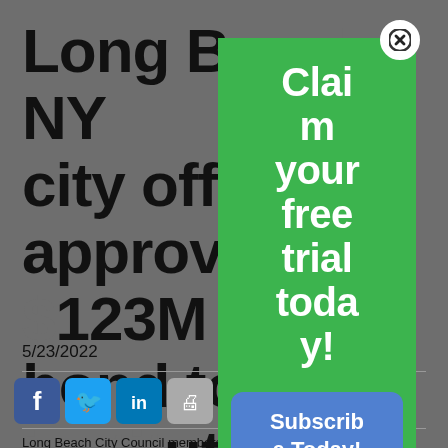Long Beach, NY city officials approved $123M bond to institute sewage cleanup of Reynolds Channel
5/23/2022
[Figure (screenshot): Social media share icons: Facebook, Twitter, LinkedIn, Print, Comment]
Long Beach City Council members approved a $123 million bond on
[Figure (infographic): Green popup overlay with text 'Claim your free trial today!' and a blue 'Subscribe Today!' button, with a close X button at top right]